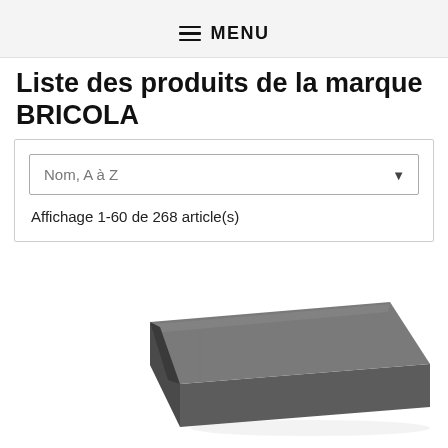MENU
Liste des produits de la marque BRICOLA
Nom, A à Z
Affichage 1-60 de 268 article(s)
[Figure (photo): A dark grey rectangular wedge-shaped product (chisel or similar tool) photographed on a white background, viewed at an angle from above.]